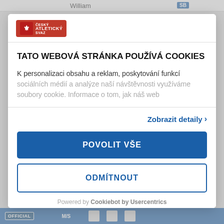William  SB
[Figure (logo): Český atletický svaz logo — red badge with lion icon and text ČESKÝ ATLETICKÝ SVAZ]
TATO WEBOVÁ STRÁNKA POUŽÍVÁ COOKIES
K personalizaci obsahu a reklam, poskytování funkcí sociálních médií a analýze naší návštěvnosti využíváme soubory cookie. Informace o tom, jak náš web
Zobrazit detaily >
POVOLIT VŠE
ODMÍTNOUT
Powered by Cookiebot by Usercentrics
OFFICIAL  M/S